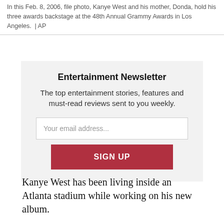In this Feb. 8, 2006, file photo, Kanye West and his mother, Donda, hold his three awards backstage at the 48th Annual Grammy Awards in Los Angeles.  | AP
Entertainment Newsletter
The top entertainment stories, features and must-read reviews sent to you weekly.
Your email address...
SIGN UP
Kanye West has been living inside an Atlanta stadium while working on his new album.